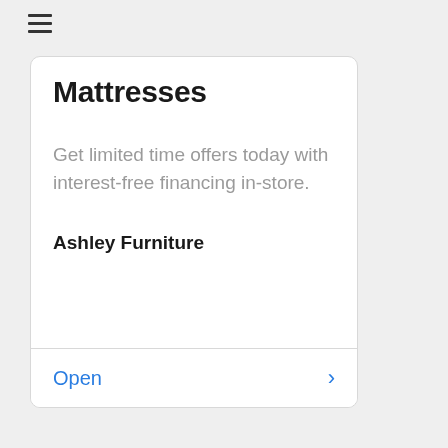[Figure (other): Hamburger menu icon (three horizontal lines)]
Mattresses
Get limited time offers today with interest-free financing in-store.
Ashley Furniture
Open